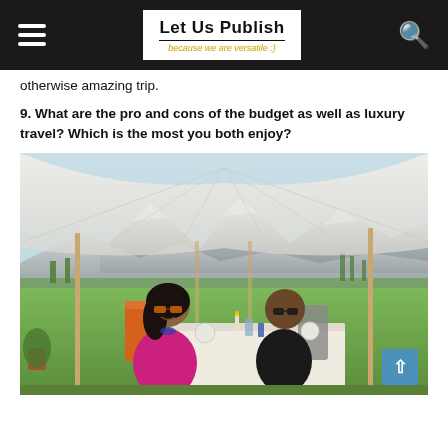Let Us Publish — because we are versatile :)
otherwise amazing trip.
9. What are the pro and cons of the budget as well as luxury travel? Which is the most you both enjoy?
[Figure (photo): A couple sitting at an outdoor dining table under a large white tent/canopy structure. Mountains and green valley visible in the background. The woman is wearing a bright pink outfit and orange sunglasses, the man is in a black shirt with sunglasses. Orange chairs, white tablecloth with tableware on the table.]